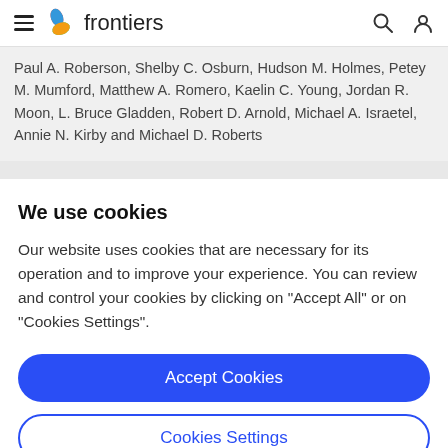frontiers
Paul A. Roberson, Shelby C. Osburn, Hudson M. Holmes, Petey M. Mumford, Matthew A. Romero, Kaelin C. Young, Jordan R. Moon, L. Bruce Gladden, Robert D. Arnold, Michael A. Israetel, Annie N. Kirby and Michael D. Roberts
We use cookies
Our website uses cookies that are necessary for its operation and to improve your experience. You can review and control your cookies by clicking on "Accept All" or on "Cookies Settings".
Accept Cookies
Cookies Settings